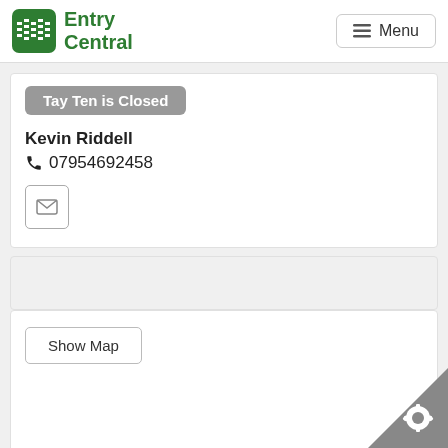[Figure (logo): Entry Central logo with green icon and text]
≡ Menu
Tay Ten is Closed
Kevin Riddell
📞 07954692458
[Figure (other): Email envelope button icon]
Show Map
[Figure (other): Settings gear icon in bottom right corner]